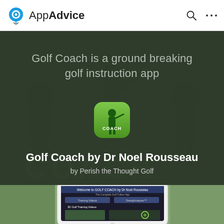AppAdvice
[Figure (screenshot): AppAdvice website screenshot showing Golf Coach app. Hero banner with dark green background showing golfer silhouette, text 'Golf Coach is a ground breaking golf instruction app', Golf Coach app icon, title 'Golf Coach by Dr Noel Rousseau', subtitle 'by Perish the Thought Golf', and a phone screenshot showing the app interface at the bottom.]